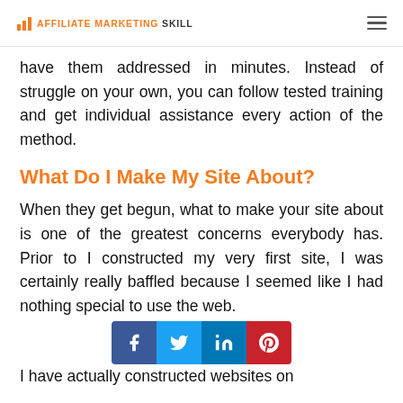AFFILIATE MARKETING SKILL
have them addressed in minutes. Instead of struggle on your own, you can follow tested training and get individual assistance every action of the method.
What Do I Make My Site About?
When they get begun, what to make your site about is one of the greatest concerns everybody has. Prior to I constructed my very first site, I was certainly really baffled because I seemed like I had nothing special to use the web.
[Figure (infographic): Social sharing buttons: Facebook (blue), Twitter (light blue), LinkedIn (dark blue), Pinterest (red)]
I have actually constructed websites on